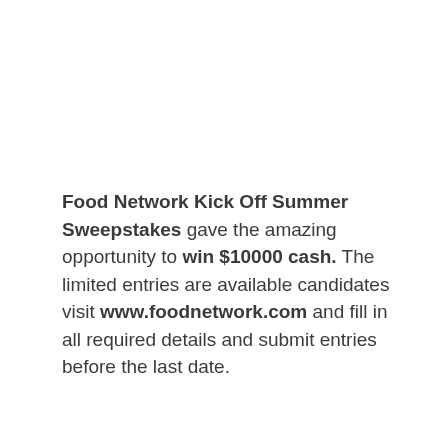Food Network Kick Off Summer Sweepstakes gave the amazing opportunity to win $10000 cash. The limited entries are available candidates visit www.foodnetwork.com and fill in all required details and submit entries before the last date.